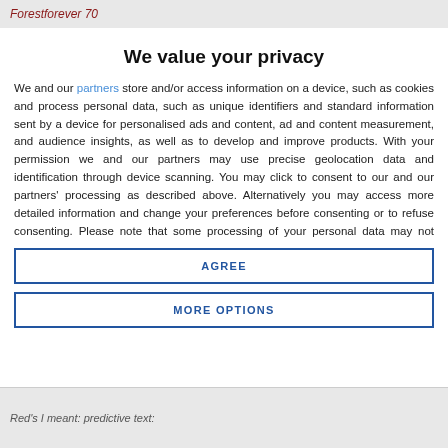Forestforever 70
We value your privacy
We and our partners store and/or access information on a device, such as cookies and process personal data, such as unique identifiers and standard information sent by a device for personalised ads and content, ad and content measurement, and audience insights, as well as to develop and improve products. With your permission we and our partners may use precise geolocation data and identification through device scanning. You may click to consent to our and our partners' processing as described above. Alternatively you may access more detailed information and change your preferences before consenting or to refuse consenting. Please note that some processing of your personal data may not require your consent, but you have a right to
AGREE
MORE OPTIONS
Red's I meant: predictive text: